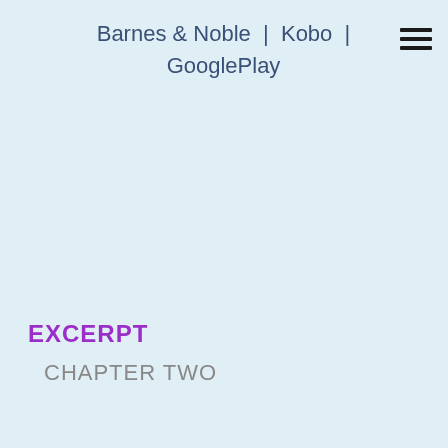Barnes & Noble | Kobo | GooglePlay
EXCERPT
CHAPTER TWO